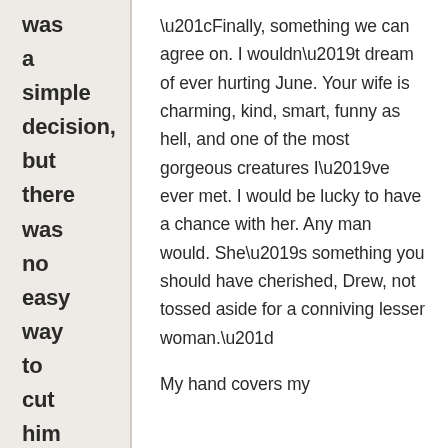was a simple decision, but there was no easy way to cut him out of her
“Finally, something we can agree on. I wouldn’t dream of ever hurting June. Your wife is charming, kind, smart, funny as hell, and one of the most gorgeous creatures I’ve ever met. I would be lucky to have a chance with her. Any man would. She’s something you should have cherished, Drew, not tossed aside for a conniving lesser woman.”
My hand covers my